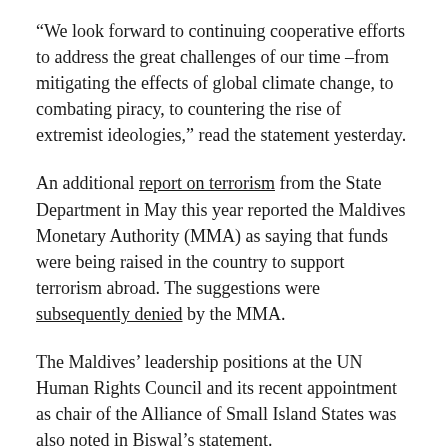“We look forward to continuing cooperative efforts to address the great challenges of our time –from mitigating the effects of global climate change, to combating piracy, to countering the rise of extremist ideologies,” read the statement yesterday.
An additional report on terrorism from the State Department in May this year reported the Maldives Monetary Authority (MMA) as saying that funds were being raised in the country to support terrorism abroad. The suggestions were subsequently denied by the MMA.
The Maldives’ leadership positions at the UN Human Rights Council and its recent appointment as chair of the Alliance of Small Island States was also noted in Biswal’s statement.